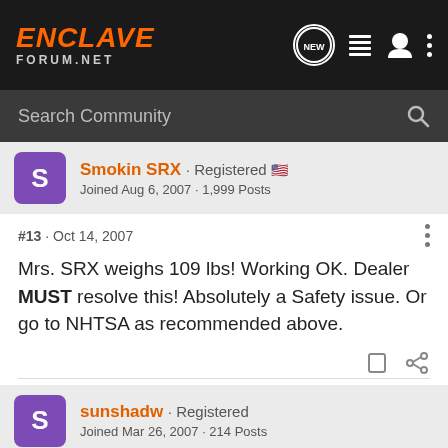ENCLAVE FORUM.NET
Search Community
Smokin SRX · Registered · Joined Aug 6, 2007 · 1,999 Posts
#13 · Oct 14, 2007
Mrs. SRX weighs 109 lbs! Working OK. Dealer MUST resolve this! Absolutely a Safety issue. Or go to NHTSA as recommended above.
sunshadw · Registered · Joined Mar 26, 2007 · 214 Posts